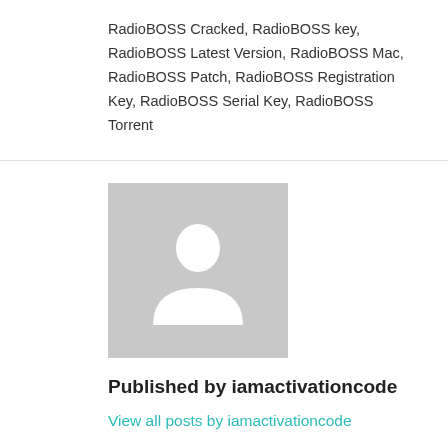RadioBOSS Cracked, RadioBOSS key, RadioBOSS Latest Version, RadioBOSS Mac, RadioBOSS Patch, RadioBOSS Registration Key, RadioBOSS Serial Key, RadioBOSS Torrent
[Figure (illustration): Generic user avatar placeholder — grey square with a white silhouette of a person]
Published by iamactivationcode
View all posts by iamactivationcode
Prev
TeamViewer 15.30.3 Crack